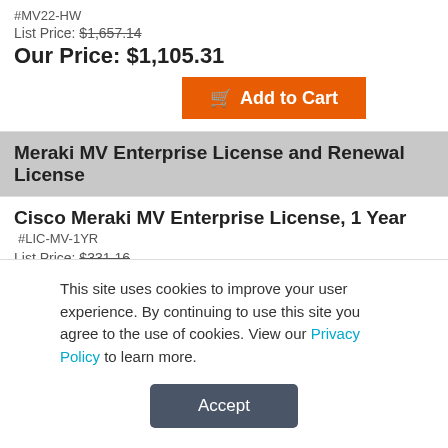#MV22-HW
List Price: $1,657.14
Our Price: $1,105.31
Add to Cart
Meraki MV Enterprise License and Renewal License
Cisco Meraki MV Enterprise License, 1 Year
#LIC-MV-1YR
List Price: $331.16
Our Price: $220.88
Add to Cart
Cisco Meraki MV Enterprise License, 3 Year
#LIC-MV-3YR
This site uses cookies to improve your user experience. By continuing to use this site you agree to the use of cookies. View our Privacy Policy to learn more.
Accept